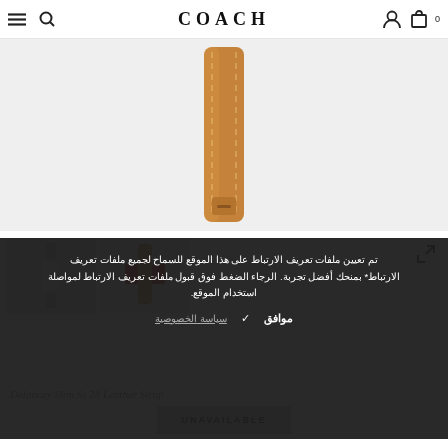COACH
[Figure (photo): Tan/saddle brown leather watch strap with stitching detail, shown vertically on white/light grey background]
[Figure (photo): Two thumbnail product images: one showing a silver watch face, one showing the brown leather strap with red accent]
تم تعيين ملفات تعريف الارتباط على هذا الموقع للسماح لجميع ملفات تعريف الارتباط* بمنحك أفضل تجربة. الرجاء الضغط فوق قبول ملفات تعريف الارتباط لمواصلة استخدام الموقع.
موافق ✓   سياسة الخصوصية
Delancey Slim Ss 28 Leather Strap
UNAVAILABLE